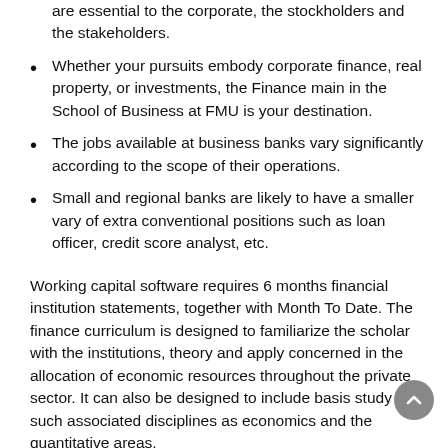are essential to the corporate, the stockholders and the stakeholders.
Whether your pursuits embody corporate finance, real property, or investments, the Finance main in the School of Business at FMU is your destination.
The jobs available at business banks vary significantly according to the scope of their operations.
Small and regional banks are likely to have a smaller vary of extra conventional positions such as loan officer, credit score analyst, etc.
Working capital software requires 6 months financial institution statements, together with Month To Date. The finance curriculum is designed to familiarize the scholar with the institutions, theory and apply concerned in the allocation of economic resources throughout the private sector. It can also be designed to include basis study in such associated disciplines as economics and the quantitative areas.